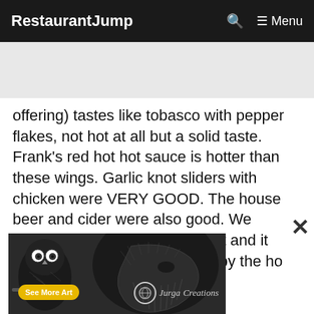RestaurantJump  🔍  ☰ Menu
offering) tastes like tobasco with pepper flakes, not hot at all but a solid taste. Frank's red hot hot sauce is hotter than these wings. Garlic knot sliders with chicken were VERY GOOD. The house beer and cider were also good. We walked into a 1/3 full restaurant and it took 5 min or so to be noticed by the ho... th... r or... an...
[Figure (illustration): Pencil sketch illustration of an owl and a bearded man's face (side profile) with 'See More Art' yellow button and 'Jurga Creations' logo with circular emblem]